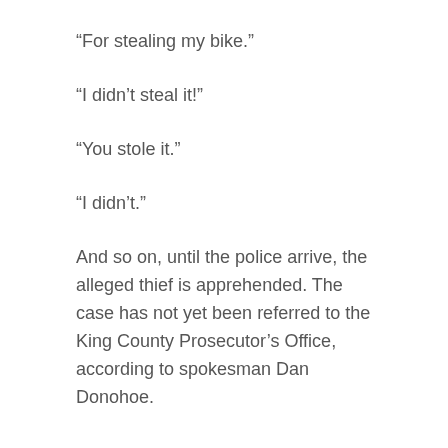“For stealing my bike.”
“I didn’t steal it!”
“You stole it.”
“I didn’t.”
And so on, until the police arrive, the alleged thief is apprehended. The case has not yet been referred to the King County Prosecutor’s Office, according to spokesman Dan Donohoe.